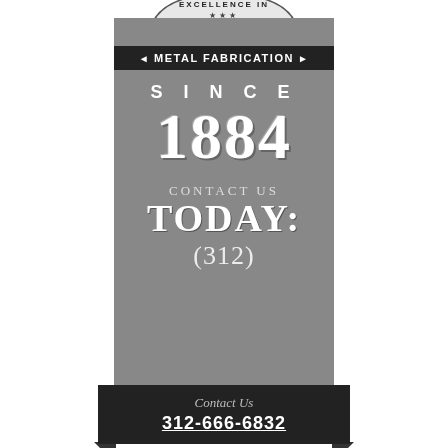[Figure (logo): Vintage-style metal fabrication company badge/logo in grayscale. Top arch banner reads 'EXCELLENCE IN' with stars, below that a dark banner 'METAL FABRICATION' with arrows, gray body shows 'SINCE 1884', 'CONTACT US TODAY: (312)', and bottom ribbon with 'Contact Us' script and phone number 312-666-6832.]
EXCELLENCE IN
METAL FABRICATION
SINCE
1884
CONTACT US TODAY:
(312)
Contact Us
312-666-6832